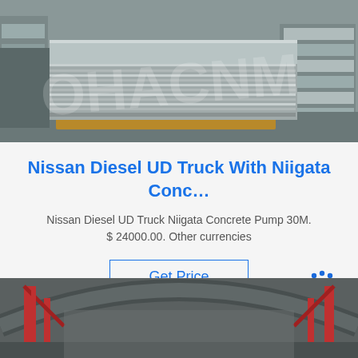[Figure (photo): Warehouse photo showing stacked metal/aluminum sheets on pallets with a watermark overlay reading 'OHACNM']
Nissan Diesel UD Truck With Niigata Conc…
Nissan Diesel UD Truck Niigata Concrete Pump 30M. $ 24000.00. Other currencies
[Figure (other): Get Price button with blue border and blue text]
[Figure (logo): TOP badge/logo in blue with dots forming an arc above the text]
[Figure (photo): Interior of a large industrial warehouse with red structural beams and arched roof]